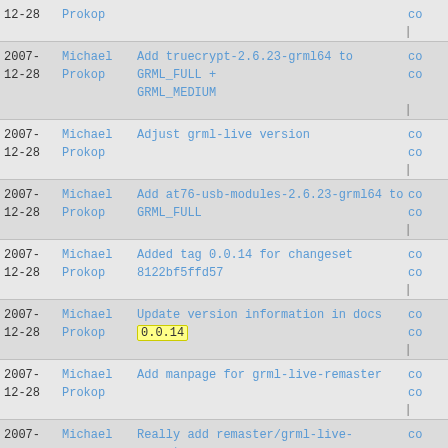12-28  Prokop  co |
2007-12-28  Michael Prokop  Add truecrypt-2.6.23-grml64 to GRML_FULL + GRML_MEDIUM  co co |
2007-12-28  Michael Prokop  Adjust grml-live version  co co |
2007-12-28  Michael Prokop  Add at76-usb-modules-2.6.23-grml64 to GRML_FULL  co co |
2007-12-28  Michael Prokop  Added tag 0.0.14 for changeset 8122bf5ffd57  co co |
2007-12-28  Michael Prokop  Update version information in docs 0.0.14  co co |
2007-12-28  Michael Prokop  Add manpage for grml-live-remaster  co co |
2007-  Michael  Really add remaster/grml-live-remaster